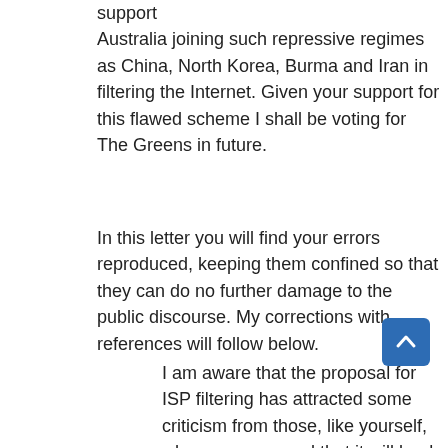support Australia joining such repressive regimes as China, North Korea, Burma and Iran in filtering the Internet. Given your support for this flawed scheme I shall be voting for The Greens in future.
In this letter you will find your errors reproduced, keeping them confined so that they can do no further damage to the public discourse. My corrections with references will follow below.
I am aware that the proposal for ISP filtering has attracted some criticism from those, like yourself, who are concerned that it will lead to censorship of the internet. However, the Australian Government has no plans to stop adults from viewing